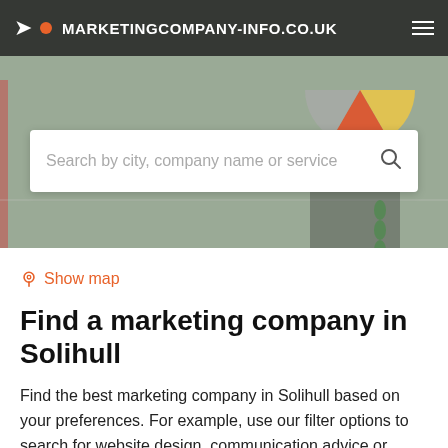MARKETINGCOMPANY-INFO.CO.UK
[Figure (screenshot): Search bar with placeholder text: Search by city, company name or service]
Show map
Find a marketing company in Solihull
Find the best marketing company in Solihull based on your preferences. For example, use our filter options to search for website design, communication advice or direct mail. In our Terms and Conditions you will find more information about how our search results are generated.
Filters